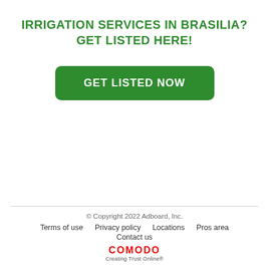IRRIGATION SERVICES IN BRASILIA?
GET LISTED HERE!
[Figure (other): Green 'GET LISTED NOW' call-to-action button]
© Copyright 2022 Adboard, Inc.
Terms of use   Privacy policy   Locations   Pros area
Contact us
COMODO Creating Trust Online®